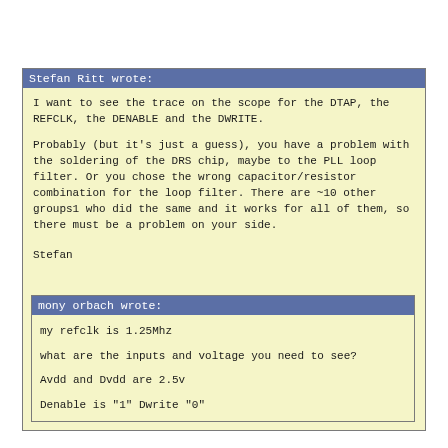Stefan Ritt wrote:
I want to see the trace on the scope for the DTAP, the REFCLK, the DENABLE and the DWRITE.

Probably (but it's just a guess), you have a problem with the soldering of the DRS chip, maybe to the PLL loop filter. Or you chose the wrong capacitor/resistor combination for the loop filter. There are ~10 other groups1 who did the same and it works for all of them, so there must be a problem on your side.

Stefan
mony orbach wrote:
my refclk is 1.25Mhz

what are the inputs and voltage you need to see?

Avdd and Dvdd are 2.5v

Denable is "1" Dwrite "0"